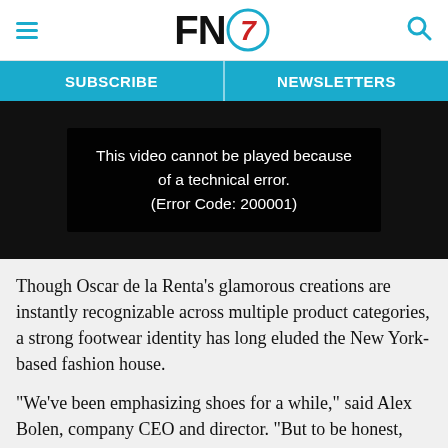FN7 [logo with hamburger menu and search icon]
SUBSCRIBE   NEWSLETTERS
[Figure (screenshot): Video player showing error message: 'This video cannot be played because of a technical error. (Error Code: 200001)']
Though Oscar de la Renta’s glamorous creations are instantly recognizable across multiple product categories, a strong footwear identity has long eluded the New York-based fashion house.
“We’ve been emphasizing shoes for a while,” said Alex Bolen, company CEO and director. “But to be honest, we’ve not been as successful as we would like. When I look back, we’ve tried to be too many things to too